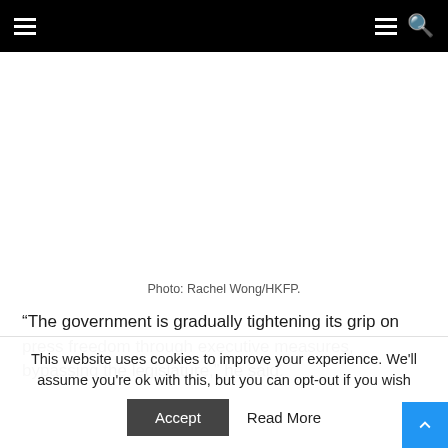Navigation header with hamburger menus and search icon
[Figure (photo): Photograph area (blank/white) representing an image placeholder]
Photo: Rachel Wong/HKFP.
“The government is gradually tightening its grip on press freedom through executive measures, bypassing the legislature,” he said.
This website uses cookies to improve your experience. We'll assume you're ok with this, but you can opt-out if you wish